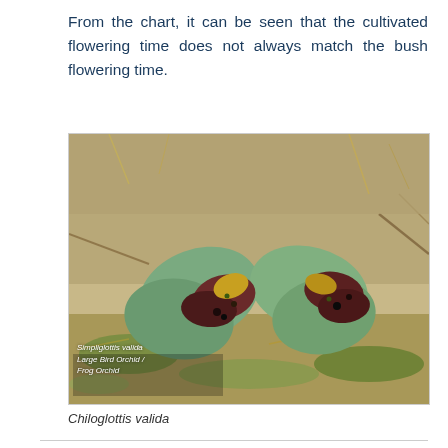From the chart, it can be seen that the cultivated flowering time does not always match the bush flowering time.
[Figure (photo): Close-up photograph of two Chiloglottis valida (Large Bird Orchid / Frog Orchid) flowers growing in sandy ground with moss and leaf litter. The flowers have broad green leaves with dark reddish-maroon petals and visible glands. A watermark in the lower left reads 'Simpliglottis valida / Large Bird Orchid / Frog Orchid'.]
Chiloglottis valida